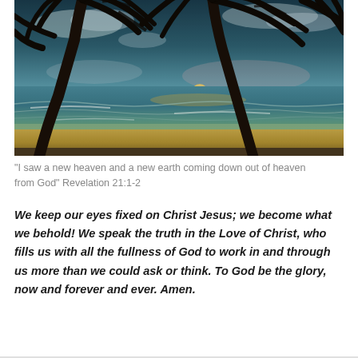[Figure (photo): Tropical beach sunset with palm trees silhouetted against a colorful sky with ocean waves and sandy shore]
"I saw a new heaven and a new earth coming down out of heaven from God" Revelation 21:1-2
We keep our eyes fixed on Christ Jesus; we become what we behold! We speak the truth in the Love of Christ, who fills us with all the fullness of God to work in and through us more than we could ask or think. To God be the glory, now and forever and ever. Amen.